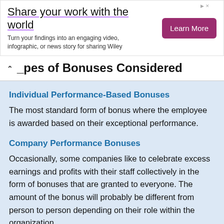[Figure (other): Advertisement banner: 'Share your work with the world' with a 'Learn More' button on a purple background. Subtitle: 'Turn your findings into an engaging video, infographic, or news story for sharing Wiley']
Types of Bonuses Considered
Individual Performance-Based Bonuses
The most standard form of bonus where the employee is awarded based on their exceptional performance.
Company Performance Bonuses
Occasionally, some companies like to celebrate excess earnings and profits with their staff collectively in the form of bonuses that are granted to everyone. The amount of the bonus will probably be different from person to person depending on their role within the organization.